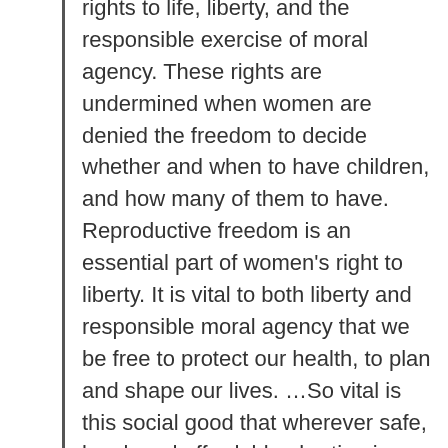rights to life, liberty, and the responsible exercise of moral agency. These rights are undermined when women are denied the freedom to decide whether and when to have children, and how many of them to have. Reproductive freedom is an essential part of women's right to liberty. It is vital to both liberty and responsible moral agency that we be free to protect our health, to plan and shape our lives. …So vital is this social good that wherever safe, legal, and affordable abortion is unavailable, many women risk death, permanent physical injury, social disgrace, and legal prosecution, in order to end unwanted pregnancies.Warren M. Moral Status: